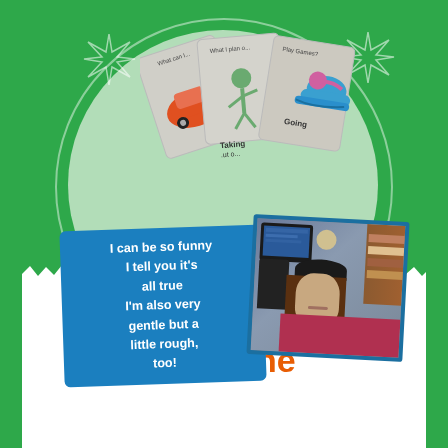[Figure (illustration): Green background page with light green circle, decorative star/burst outlines, fanned activity cards at top showing car, person, swimmer icons with 'Taking...' and 'Going' labels, a blue quote box with text, a polaroid-style photo of a child at a computer, a white torn-edge panel at bottom labeled FunZone]
I can be so funny
I tell you it's all true
I'm also very gentle but a little rough, too!
FunZone